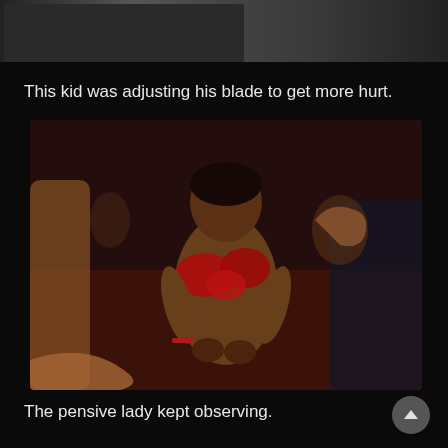[Figure (photo): Top portion of a photograph visible at the top of the page, showing blurred figures with dark background.]
This kid was adjusting his blade to get more hurt.
[Figure (photo): A young shirtless boy with blood on his chest and hands, surrounded by other people, in what appears to be a religious ritual.]
The pensive lady kept observing.